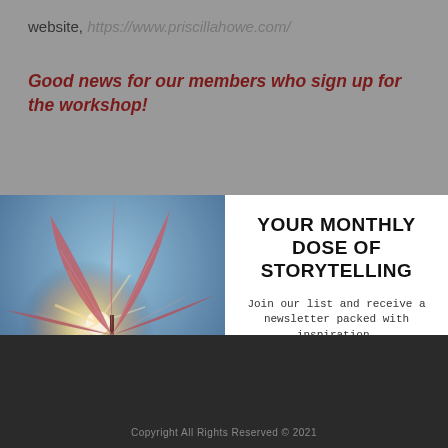website, https://www.priscillahowe.com/
Good news for our members who sign up for the workshop!
[Figure (photo): Close-up photo of a lily flower with sun flare behind it and a blue sky background]
YOUR MONTHLY DOSE OF STORYTELLING
Join our list and receive a newsletter packed with inspiration.
E-Mail
Add me
Copyright All Rights Reserved © 2021